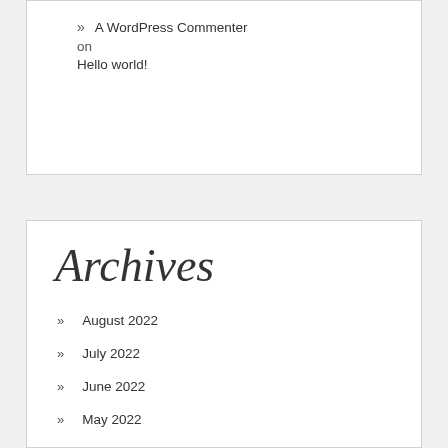» A WordPress Commenter on Hello world!
Archives
August 2022
July 2022
June 2022
May 2022
April 2022